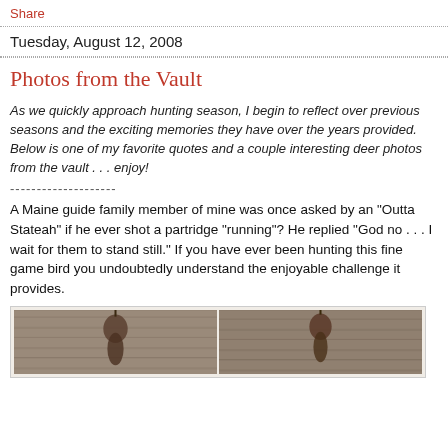Share
Tuesday, August 12, 2008
Photos from the Vault
As we quickly approach hunting season, I begin to reflect over previous seasons and the exciting memories they have over the years provided. Below is one of my favorite quotes and a couple interesting deer photos from the vault . . . enjoy!
--------------------
A Maine guide family member of mine was once asked by an "Outta Stateah" if he ever shot a partridge "running"? He replied "God no . . . I wait for them to stand still." If you have ever been hunting this fine game bird you undoubtedly understand the enjoyable challenge it provides.
[Figure (photo): Two photographs side by side showing hanging game birds (partridges/deer) against a wooden background]